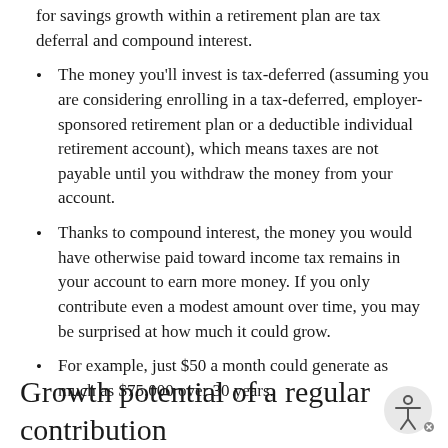for savings growth within a retirement plan are tax deferral and compound interest.
The money you'll invest is tax-deferred (assuming you are considering enrolling in a tax-deferred, employer-sponsored retirement plan or a deductible individual retirement account), which means taxes are not payable until you withdraw the money from your account.
Thanks to compound interest, the money you would have otherwise paid toward income tax remains in your account to earn more money. If you only contribute even a modest amount over time, you may be surprised at how much it could grow.
For example, just $50 a month could generate as much as $75,000 over 30 years.
Growth potential of a regular contribution